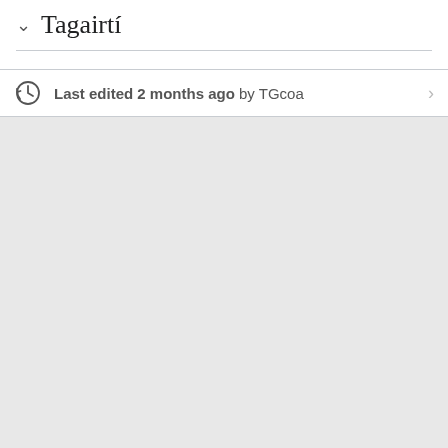Tagairtí
Last edited 2 months ago by TGcoa